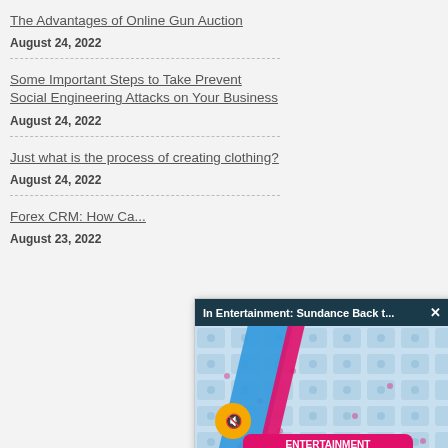The Advantages of Online Gun Auction
August 24, 2022
Some Important Steps to Take Prevent Social Engineering Attacks on Your Business
August 24, 2022
Just what is the process of creating clothing?
August 24, 2022
Forex CRM: How Ca...
August 23, 2022
[Figure (screenshot): Pop-up video player overlay with dark header reading 'In Entertainment: Sundance Back t...' and close button, containing an Entertainment Headlines branded video thumbnail with pink/blue diagonal stripes, camera icon grid pattern, mute button, and 'ENTERTAINMENT HEADLINES' badge in pink.]